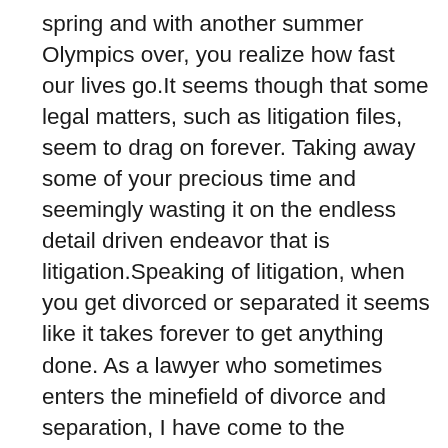spring and with another summer Olympics over, you realize how fast our lives go.It seems though that some legal matters, such as litigation files, seem to drag on forever. Taking away some of your precious time and seemingly wasting it on the endless detail driven endeavor that is litigation.Speaking of litigation, when you get divorced or separated it seems like it takes forever to get anything done. As a lawyer who sometimes enters the minefield of divorce and separation, I have come to the conclusion that the system is somewhat broken and needs some tweaking. Thankfully our system is not as complicated as the United States, but it seems to be heading in that direction.What is involved in a divorce? The answer as always it depends. It depends on a whether you have children, it depends on how long you've been married, it depends on what property you have, and it depends on what you and your spouses' incomes are.If you have a couple with no property, no kids and very little